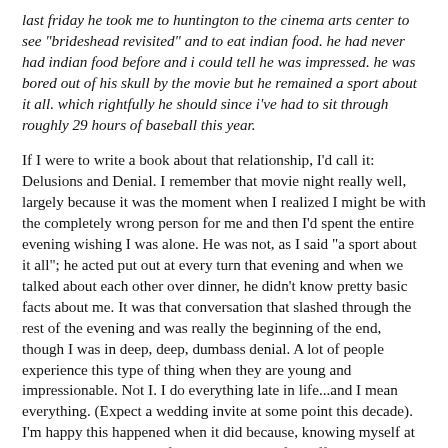last friday he took me to huntington to the cinema arts center to see "brideshead revisited" and to eat indian food. he had never had indian food before and i could tell he was impressed. he was bored out of his skull by the movie but he remained a sport about it all. which rightfully he should since i've had to sit through roughly 29 hours of baseball this year.
If I were to write a book about that relationship, I'd call it: Delusions and Denial. I remember that movie night really well, largely because it was the moment when I realized I might be with the completely wrong person for me and then I'd spent the entire evening wishing I was alone. He was not, as I said "a sport about it all"; he acted put out at every turn that evening and when we talked about each other over dinner, he didn't know pretty basic facts about me. It was that conversation that slashed through the rest of the evening and was really the beginning of the end, though I was in deep, deep, dumbass denial. A lot of people experience this type of thing when they are young and impressionable. Not I. I do everything late in life...and I mean everything. (Expect a wedding invite at some point this decade). I'm happy this happened when it did because, knowing myself at 22, I likely would have fragmented and drifted off into space. Also, he wasn't a genuine food lover.